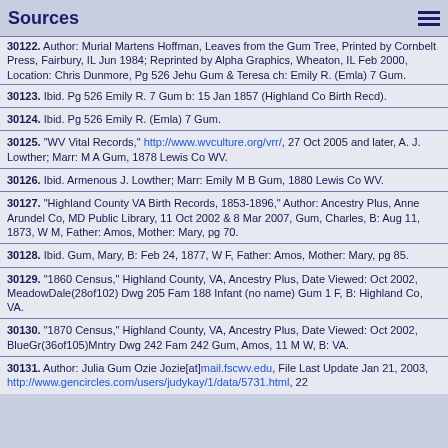Sources
30122. Author: Murial Martens Hoffman, Leaves from the Gum Tree, Printed by Cornbelt Press, Fairbury, IL Jun 1984; Reprinted by Alpha Graphics, Wheaton, IL Feb 2000, Location: Chris Dunmore, Pg 526 Jehu Gum & Teresa ch: Emily R. (Emla) 7 Gum.
30123. Ibid. Pg 526 Emily R. 7 Gum b: 15 Jan 1857 (Highland Co Birth Recd).
30124. Ibid. Pg 526 Emily R. (Emla) 7 Gum.
30125. "WV Vital Records," http://www.wvculture.org/vrr/, 27 Oct 2005 and later, A. J. Lowther; Marr: M A Gum, 1878 Lewis Co WV.
30126. Ibid. Armenous J. Lowther; Marr: Emily M B Gum, 1880 Lewis Co WV.
30127. "Highland County VA Birth Records, 1853-1896," Author: Ancestry Plus, Anne Arundel Co, MD Public Library, 11 Oct 2002 & 8 Mar 2007, Gum, Charles, B: Aug 11, 1873, W M, Father: Amos, Mother: Mary, pg 70.
30128. Ibid. Gum, Mary, B: Feb 24, 1877, W F, Father: Amos, Mother: Mary, pg 85.
30129. "1860 Census," Highland County, VA, Ancestry Plus, Date Viewed: Oct 2002, MeadowDale(28of102) Dwg 205 Fam 188 Infant (no name) Gum 1 F, B: Highland Co, VA.
30130. "1870 Census," Highland County, VA, Ancestry Plus, Date Viewed: Oct 2002, BlueGr(36of105)Mntry Dwg 242 Fam 242 Gum, Amos, 11 M W, B: VA.
30131. Author: Julia Gum Ozie Jozie[at]mail.fscwv.edu, File Last Update Jan 21, 2003, http://www.gencircles.com/users/judykay/1/data/5731.html, 22